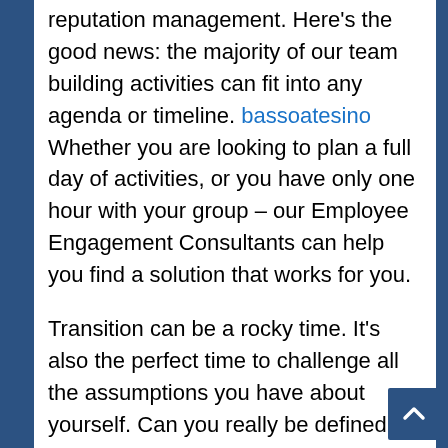reputation management. Here's the good news: the majority of our team building activities can fit into any agenda or timeline. bassoatesino Whether you are looking to plan a full day of activities, or you have only one hour with your group – our Employee Engagement Consultants can help you find a solution that works for you.

Transition can be a rocky time. It's also the perfect time to challenge all the assumptions you have about yourself. Can you really be defined by the label you've worked under for the last however many years? Does your resume really do justice to the unique blend of expertise, experiences, influences, successes (and yes, failures) that make you, uniquely